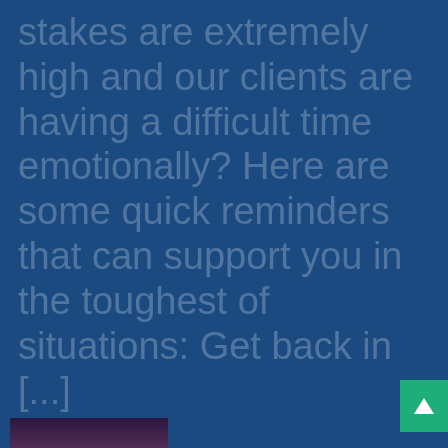stakes are extremely high and our clients are having a difficult time emotionally? Here are some quick reminders that can support you in the toughest of situations: Get back in [...]
Mindset Is A Value Driver
Turning Cues Into Action